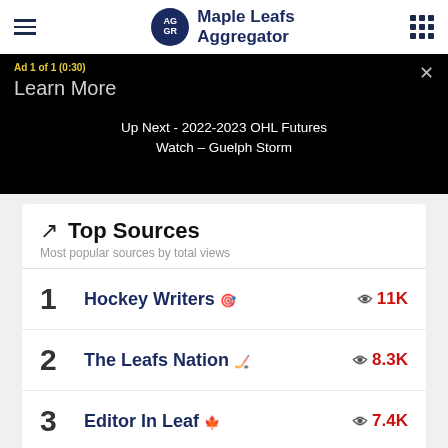Maple Leafs Aggregator
[Figure (screenshot): Ad banner: 'Ad 1 of 1 (0:30)' with 'Learn More' and 'Up Next - 2022-2023 OHL Futures Watch – Guelph Storm']
Top Sources - Most popular sources by total views
1 Hockey Writers 11K views
2 The Leafs Nation 8.3K views
3 Editor In Leaf 7.4K views
4 NHL Trade Talk 5.3K views
5 Hockey Buzz 2.9K views